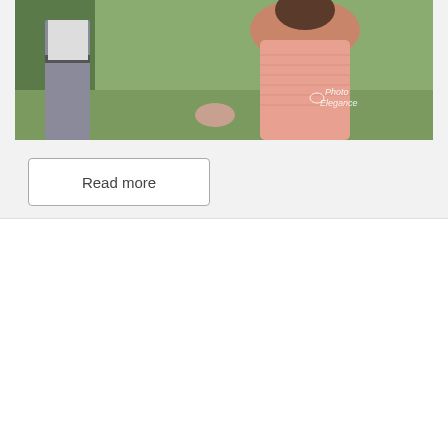[Figure (photo): Cropped wedding/engagement photo showing a couple — a man in dress pants and a woman in a pink dress holding hands outdoors with greenery in the background. A watermark reading 'Photo Elegance' is visible in the top right.]
Read more
Little Piney Lodge Wedding/Brooke+Alexander
in Bridal, Wedding